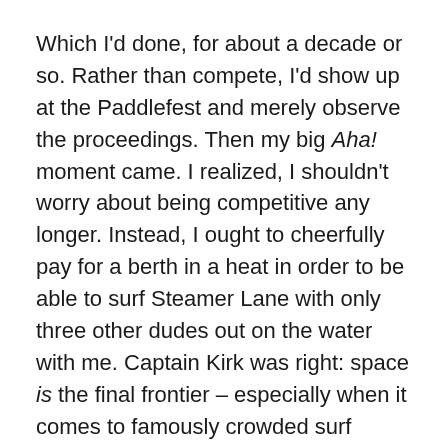Which I'd done, for about a decade or so. Rather than compete, I'd show up at the Paddlefest and merely observe the proceedings. Then my big Aha! moment came. I realized, I shouldn't worry about being competitive any longer. Instead, I ought to cheerfully pay for a berth in a heat in order to be able to surf Steamer Lane with only three other dudes out on the water with me. Captain Kirk was right: space is the final frontier – especially when it comes to famously crowded surf breaks.
And so it came to pass that, on this Saturday, I hopped on my Infinity ski, and paddled out